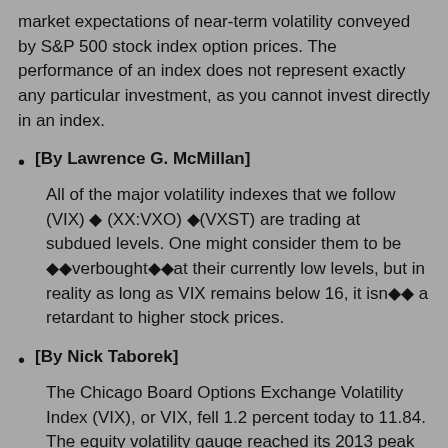market expectations of near-term volatility conveyed by S&P 500 stock index option prices. The performance of an index does not represent exactly any particular investment, as you cannot invest directly in an index.
[By Lawrence G. McMillan]
All of the major volatility indexes that we follow (VIX) ◆ (XX:VXO) ◆(VXST) are trading at subdued levels. One might consider them to be ◆◆verbought◆◆at their currently low levels, but in reality as long as VIX remains below 16, it isn◆◆ a retardant to higher stock prices.
[By Nick Taborek]
The Chicago Board Options Exchange Volatility Index (VIX), or VIX, fell 1.2 percent today to 11.84. The equity volatility gauge reached its 2013 peak in June and has since fallen 42